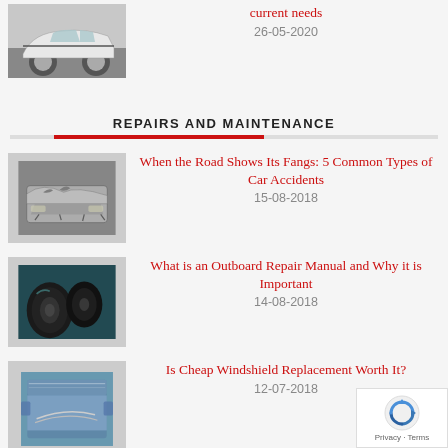[Figure (photo): White Porsche 911 sports car side view]
current needs
26-05-2020
REPAIRS AND MAINTENANCE
[Figure (photo): Crashed/damaged car front end]
When the Road Shows Its Fangs: 5 Common Types of Car Accidents
15-08-2018
[Figure (photo): Dark outboard motor engine]
What is an Outboard Repair Manual and Why it is Important
14-08-2018
[Figure (photo): Car windshield/roof view from above]
Is Cheap Windshield Replacement Worth It?
12-07-2018